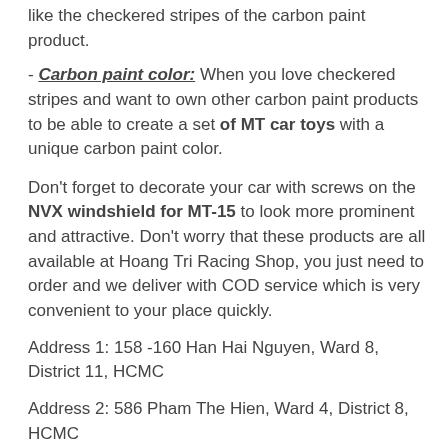like the checkered stripes of the carbon paint product.
- Carbon paint color: When you love checkered stripes and want to own other carbon paint products to be able to create a set of MT car toys with a unique carbon paint color.
Don't forget to decorate your car with screws on the NVX windshield for MT-15 to look more prominent and attractive. Don't worry that these products are all available at Hoang Tri Racing Shop, you just need to order and we deliver with COD service which is very convenient to your place quickly.
Address 1: 158 -160 Han Hai Nguyen, Ward 8, District 11, HCMC
Address 2: 586 Pham The Hien, Ward 4, District 8, HCMC
Phone: 0909 4747 13 - 0909 5030 25